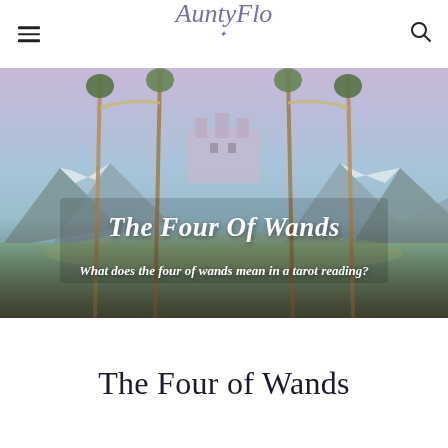AuntyFlo
[Figure (photo): Hero image of four wands/staffs arranged in an arch over a landscape with mountains, a castle in the background, and fields below. Text overlay reads 'The Four Of Wands' and 'What does the four of wands mean in a tarot reading?']
The Four Of Wands
What does the four of wands mean in a tarot reading?
The Four of Wands